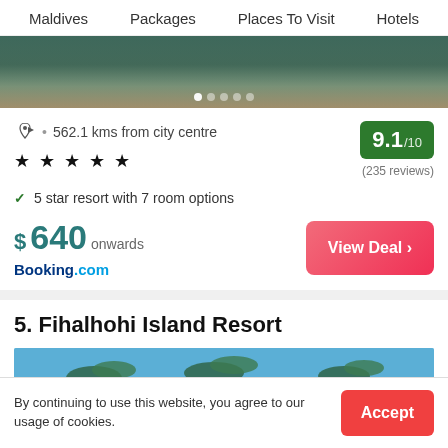Maldives   Packages   Places To Visit   Hotels
[Figure (photo): Hotel pool/exterior hero image with carousel dots]
562.1 kms from city centre
★★★★★
9.1 /10
(235 reviews)
✓ 5 star resort with 7 room options
$ 640 onwards
Booking.com
5. Fihalhohi Island Resort
[Figure (photo): Palm trees and blue sky resort photo]
By continuing to use this website, you agree to our usage of cookies.